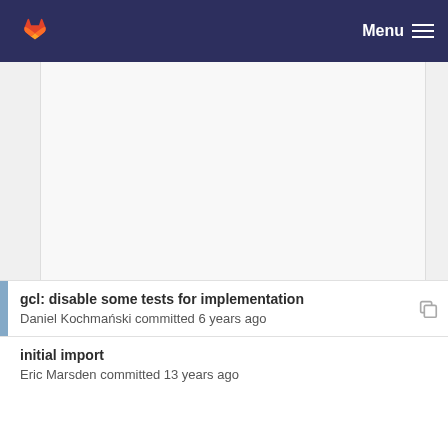GitLab — Menu
[Figure (screenshot): Empty repository file listing area with light gray background]
gcl: disable some tests for implementation
Daniel Kochmański committed 6 years ago
initial import
Eric Marsden committed 13 years ago